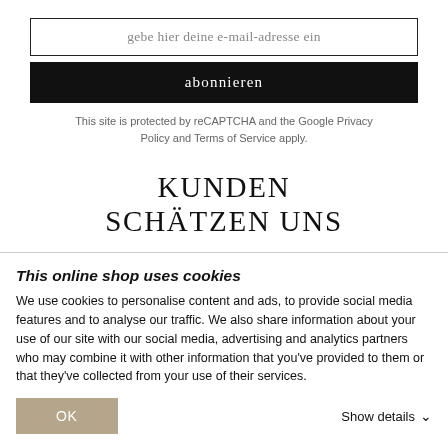gebe hier deine e-mail-adresse ein
abonnieren
This site is protected by reCAPTCHA and the Google Privacy Policy and Terms of Service apply.
KUNDEN SCHÄTZEN UNS
[Figure (other): Partial circular rating badge/donut chart in yellow and green colors, partially cut off at bottom]
This online shop uses cookies
We use cookies to personalise content and ads, to provide social media features and to analyse our traffic. We also share information about your use of our site with our social media, advertising and analytics partners who may combine it with other information that you've provided to them or that they've collected from your use of their services.
OK
Show details